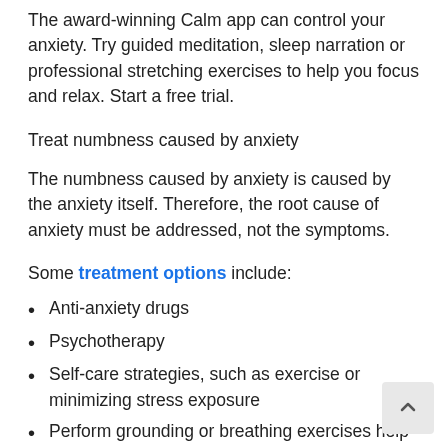The award-winning Calm app can control your anxiety. Try guided meditation, sleep narration or professional stretching exercises to help you focus and relax. Start a free trial.
Treat numbness caused by anxiety
The numbness caused by anxiety is caused by the anxiety itself. Therefore, the root cause of anxiety must be addressed, not the symptoms.
Some treatment options include:
Anti-anxiety drugs
Psychotherapy
Self-care strategies, such as exercise or minimizing stress exposure
Perform grounding or breathing exercises help people regain a sense of control